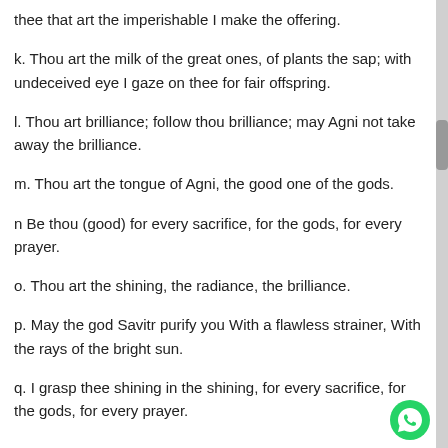thee that art the imperishable I make the offering.
k. Thou art the milk of the great ones, of plants the sap; with undeceived eye I gaze on thee for fair offspring.
l. Thou art brilliance; follow thou brilliance; may Agni not take away the brilliance.
m. Thou art the tongue of Agni, the good one of the gods.
n Be thou (good) for every sacrifice, for the gods, for every prayer.
o. Thou art the shining, the radiance, the brilliance.
p. May the god Savitr purify you With a flawless strainer, With the rays of the bright sun.
q. I grasp thee shining in the shining, for every sacrifice, for the gods, for every prayer.